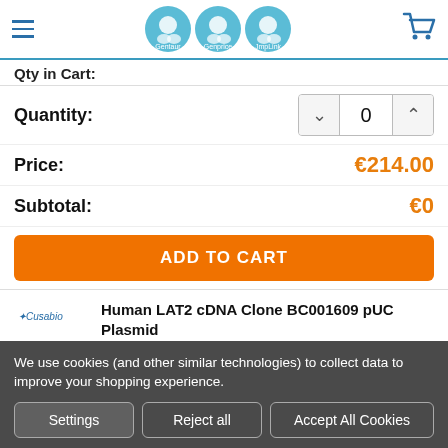[Figure (logo): Website header with hamburger menu, three circular logos (Gentaur, Genprice, JmpLink), and a cart icon]
Qty in Cart:
Quantity: 0
Price: €214.00
Subtotal: €0
ADD TO CART
Human LAT2 cDNA Clone BC001609 pUC Plasmid
Cusabio pUC Plasmid
We use cookies (and other similar technologies) to collect data to improve your shopping experience.
Settings
Reject all
Accept All Cookies